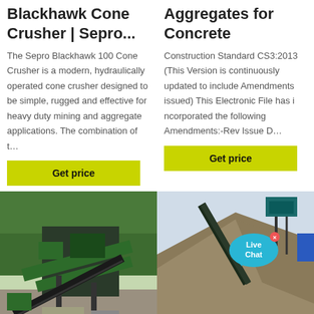Blackhawk Cone Crusher | Sepro...
The Sepro Blackhawk 100 Cone Crusher is a modern, hydraulically operated cone crusher designed to be simple, rugged and effective for heavy duty mining and aggregate applications. The combination of t…
Get price
Aggregates for Concrete
Construction Standard CS3:2013 (This Version is continuously updated to include Amendments issued) This Electronic File has i ncorporated the following Amendments:-Rev Issue D…
Get price
[Figure (photo): Industrial mining conveyor belt and crusher equipment at a quarry site with green forested hills in background.]
[Figure (photo): Large pile of aggregate/sand material with a conveyor belt structure and blue machinery visible.]